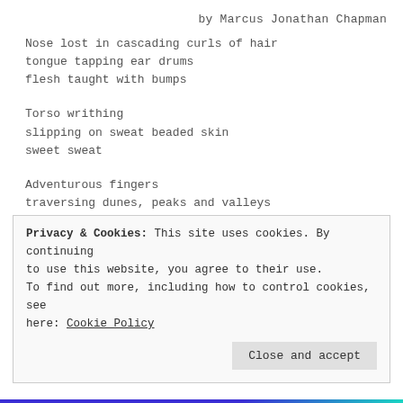by Marcus Jonathan Chapman
Nose lost in cascading curls of hair
tongue tapping ear drums
flesh taught with bumps
Torso writhing
slipping on sweat beaded skin
sweet sweat
Adventurous fingers
traversing dunes, peaks and valleys
pushing in territorial flags
Allied conquistadors
Friendly foe
Privacy & Cookies: This site uses cookies. By continuing to use this website, you agree to their use. To find out more, including how to control cookies, see here: Cookie Policy
Close and accept